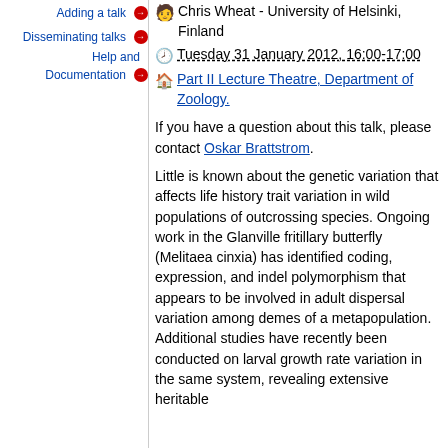Adding a talk →
Disseminating talks →
Help and Documentation →
Chris Wheat - University of Helsinki, Finland
Tuesday 31 January 2012, 16:00-17:00
Part II Lecture Theatre, Department of Zoology.
If you have a question about this talk, please contact Oskar Brattstrom.
Little is known about the genetic variation that affects life history trait variation in wild populations of outcrossing species. Ongoing work in the Glanville fritillary butterfly (Melitaea cinxia) has identified coding, expression, and indel polymorphism that appears to be involved in adult dispersal variation among demes of a metapopulation. Additional studies have recently been conducted on larval growth rate variation in the same system, revealing extensive heritable